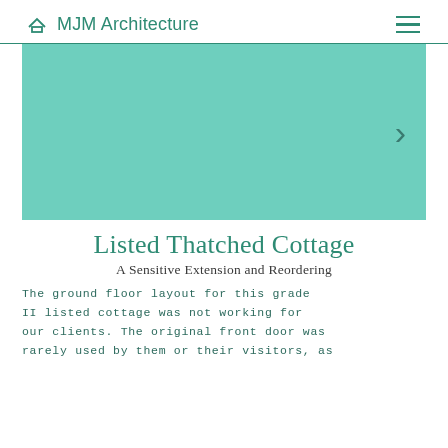△ MJM Architecture
[Figure (photo): Teal/turquoise colored image placeholder with a right-pointing chevron arrow on the right side, representing a photo carousel for a Listed Thatched Cottage project.]
Listed Thatched Cottage
A Sensitive Extension and Reordering
The ground floor layout for this grade II listed cottage was not working for our clients. The original front door was rarely used by them or their visitors, as